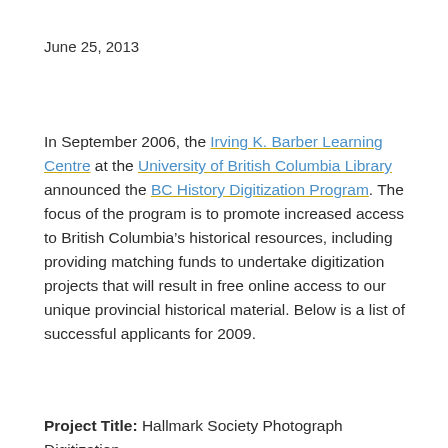June 25, 2013
In September 2006, the Irving K. Barber Learning Centre at the University of British Columbia Library announced the BC History Digitization Program. The focus of the program is to promote increased access to British Columbia’s historical resources, including providing matching funds to undertake digitization projects that will result in free online access to our unique provincial historical material. Below is a list of successful applicants for 2009.
Project Title: Hallmark Society Photograph Digitization